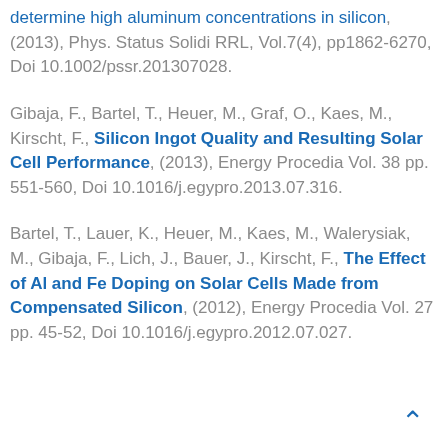determine high aluminum concentrations in silicon, (2013), Phys. Status Solidi RRL, Vol.7(4), pp1862-6270, Doi 10.1002/pssr.201307028.
Gibaja, F., Bartel, T., Heuer, M., Graf, O., Kaes, M., Kirscht, F., Silicon Ingot Quality and Resulting Solar Cell Performance, (2013), Energy Procedia Vol. 38 pp. 551-560, Doi 10.1016/j.egypro.2013.07.316.
Bartel, T., Lauer, K., Heuer, M., Kaes, M., Walerysiak, M., Gibaja, F., Lich, J., Bauer, J., Kirscht, F., The Effect of Al and Fe Doping on Solar Cells Made from Compensated Silicon, (2012), Energy Procedia Vol. 27 pp. 45-52, Doi 10.1016/j.egypro.2012.07.027.